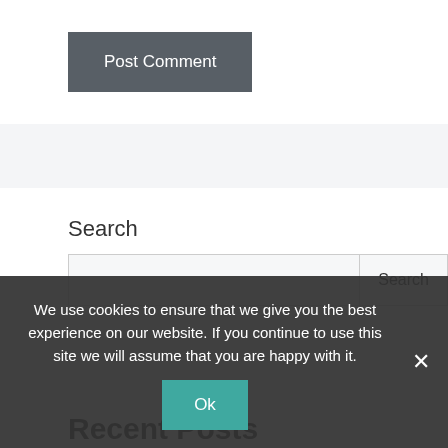Post Comment
Search
Search
Recent Posts
Olivia Wilde on public serving of custody papers: 'It was really cutting' | Olivia Wilde
We use cookies to ensure that we give you the best experience on our website. If you continue to use this site we will assume that you are happy with it.
Ok